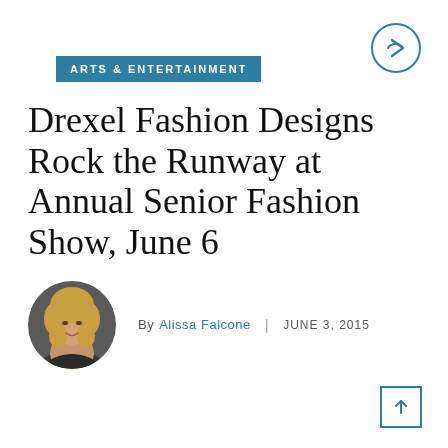ARTS & ENTERTAINMENT
Drexel Fashion Designs Rock the Runway at Annual Senior Fashion Show, June 6
[Figure (photo): Circular headshot of author Alissa Falcone, a young woman with curly blonde hair, against a dark background]
By Alissa Falcone | JUNE 3, 2015